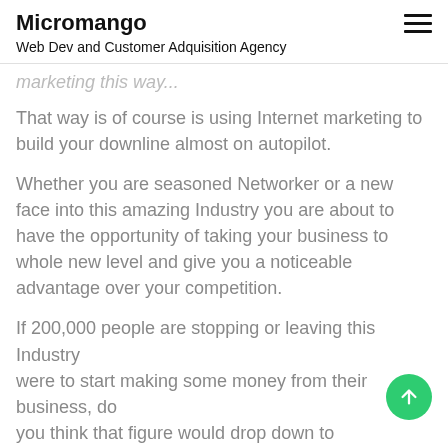Micromango
Web Dev and Customer Adquisition Agency
marketing this way...
That way is of course is using Internet marketing to build your downline almost on autopilot.
Whether you are seasoned Networker or a new face into this amazing Industry you are about to have the opportunity of taking your business to whole new level and give you a noticeable advantage over your competition.
If 200,000 people are stopping or leaving this Industry
were to start making some money from their business, do
you think that figure would drop down to considerably?